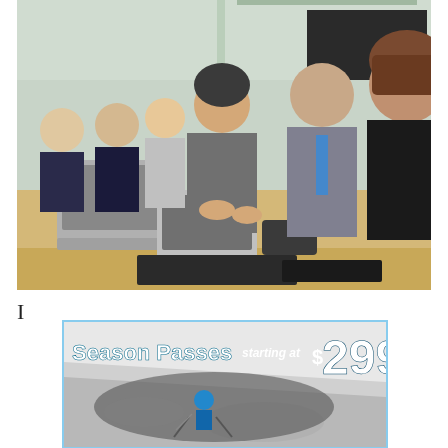[Figure (photo): Group of professionals seated around a conference table with laptops and tablets, appearing to be in a meeting. Several women and a man in a suit with a blue tie are visible.]
I
[Figure (photo): Advertisement banner showing a skier on a snowy slope with text: Season Passes starting at $299]